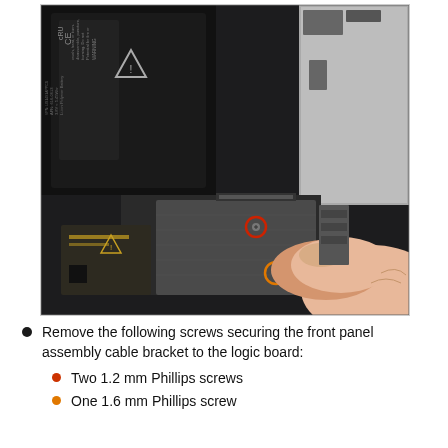[Figure (photo): Close-up photo of an iPhone's internal components being disassembled. Shows the logic board area with a battery (Li-Polymer, 3.8V, 5.45Wh), metal shielding covers, and two highlighted screws — one circled in red and one in orange. A finger is visible in the lower right, lifting a component or the rear case.]
Remove the following screws securing the front panel assembly cable bracket to the logic board:
Two 1.2 mm Phillips screws
One 1.6 mm Phillips screw